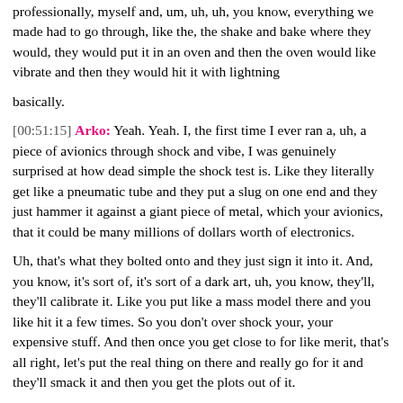professionally, myself and, um, uh, uh, you know, everything we made had to go through, like the, the shake and bake where they would, they would put it in an oven and then the oven would like vibrate and then they would hit it with lightning
basically.
[00:51:15] Arko: Yeah. Yeah. I, the first time I ever ran a, uh, a piece of avionics through shock and vibe, I was genuinely surprised at how dead simple the shock test is. Like they literally get like a pneumatic tube and they put a slug on one end and they just hammer it against a giant piece of metal, which your avionics, that it could be many millions of dollars worth of electronics.
Uh, that's what they bolted onto and they just sign it into it. And, you know, it's sort of, it's sort of a dark art, uh, you know, they'll, they'll calibrate it. Like you put like a mass model there and you like hit it a few times. So you don't over shock your, your expensive stuff. And then once you get close to for like merit, that's all right, let's put the real thing on there and really go for it and they'll smack it and then you get the plots out of it.
And you're like, oh, okay. You know, maybe we'll hit it a little more on this side and okay, we'll do the next axis here. And it's, it's very, uh, it's not as calibrated as a lot of people think at least shock is, but, but thermal and vibe it's, you know, I think, I think a little